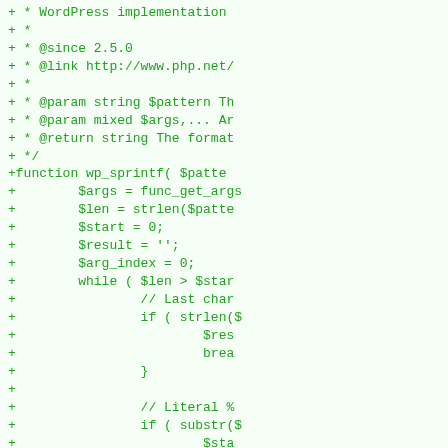[Figure (screenshot): A code diff snippet showing PHP source code for WordPress wp_sprintf function, with lines prefixed by '+' indicating additions, displayed in green monospace font on a light green background.]